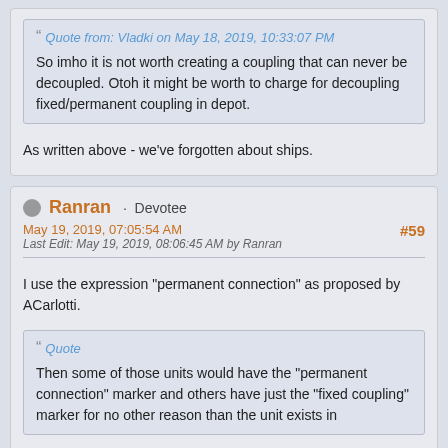Quote from: Vladki on May 18, 2019, 10:33:07 PM
So imho it is not worth creating a coupling that can never be decoupled. Otoh it might be worth to charge for decoupling fixed/permanent coupling in depot.
As written above - we've forgotten about ships.
Ranran · Devotee
May 19, 2019, 07:05:54 AM
#59
Last Edit: May 19, 2019, 08:06:45 AM by Ranran
I use the expression "permanent connection" as proposed by ACarlotti.
Quote
Then some of those units would have the "permanent connection" marker and others have just the "fixed coupling" marker for no other reason than the unit exists in